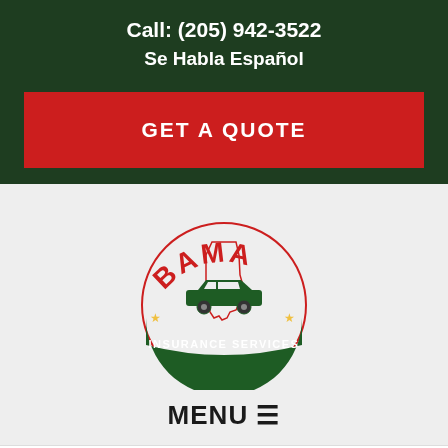Call: (205) 942-3522
Se Habla Español
GET A QUOTE
[Figure (logo): Bama Insurance Services logo: circular emblem with red BAMA text arched at top, green car silhouette over Alabama state outline, green banner reading INSURANCE SERVICES at bottom, stars on sides]
MENU ☰
Home > Insurance Blog > One last blast to wrap up the summer motorcycle riding season in Daytona Beach